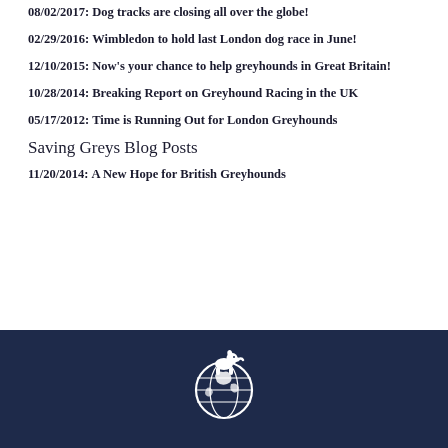08/02/2017: Dog tracks are closing all over the globe!
02/29/2016: Wimbledon to hold last London dog race in June!
12/10/2015: Now's your chance to help greyhounds in Great Britain!
10/28/2014: Breaking Report on Greyhound Racing in the UK
05/17/2012: Time is Running Out for London Greyhounds
Saving Greys Blog Posts
11/20/2014: A New Hope for British Greyhounds
[Figure (logo): White greyhound dog sitting in front of a globe, white on dark navy background — the Saving Greys logo]